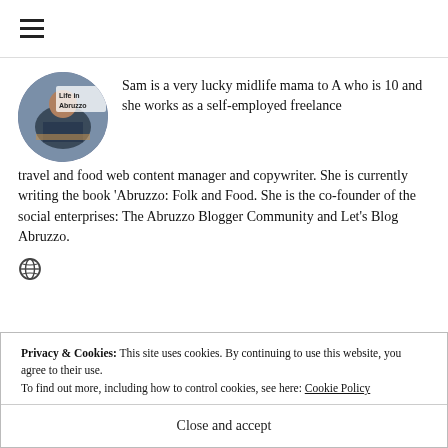☰ (hamburger menu icon)
[Figure (photo): Circular avatar photo of a person working, with text 'Life in Abruzzo' overlaid on top]
Sam is a very lucky midlife mama to A who is 10 and she works as a self-employed freelance travel and food web content manager and copywriter. She is currently writing the book 'Abruzzo: Folk and Food. She is the co-founder of the social enterprises: The Abruzzo Blogger Community and Let's Blog Abruzzo.
[Figure (illustration): Globe/world icon]
Privacy & Cookies: This site uses cookies. By continuing to use this website, you agree to their use.
To find out more, including how to control cookies, see here: Cookie Policy
Close and accept